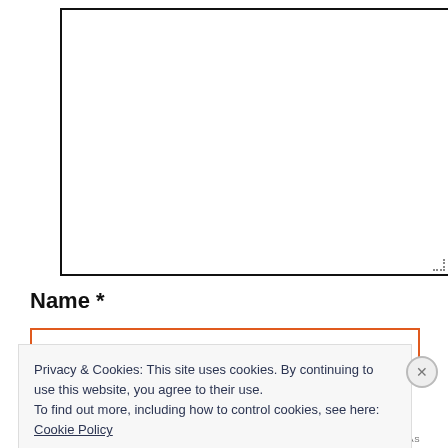[Figure (screenshot): Empty textarea input box with a dotted resize handle in the bottom-right corner]
Name *
[Figure (screenshot): Name text input field with an orange/red border]
Privacy & Cookies: This site uses cookies. By continuing to use this website, you agree to their use.
To find out more, including how to control cookies, see here:
Cookie Policy
Close and accept